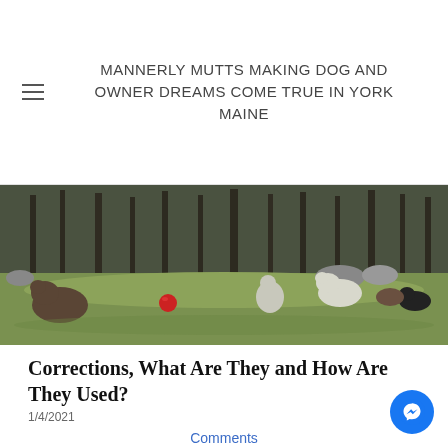MANNERLY MUTTS MAKING DOG AND OWNER DREAMS COME TRUE IN YORK MAINE
[Figure (photo): Outdoor scene showing multiple dogs playing and resting on a grass field with trees in the background. A red ball is visible. Dogs include what appear to be large white/grey dogs and a small dark dog.]
Corrections, What Are They and How Are They Used?
1/4/2021
Comments
[Figure (photo): Close-up photo of a fluffy golden/cream colored dog (likely a Goldendoodle or similar breed) sitting on sandy ground and looking at the camera.]